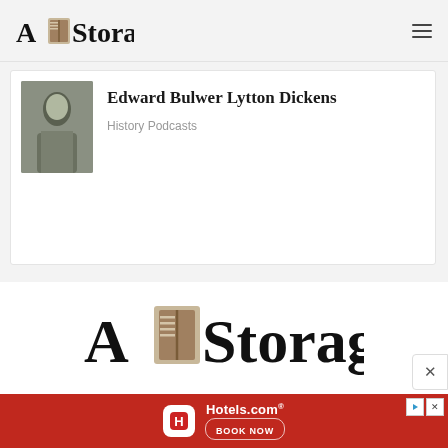[Figure (logo): A Storage logo with book image in top navigation bar]
Edward Bulwer Lytton Dickens
History Podcasts
[Figure (logo): Large A Storage logo with book image centered on white background]
[Figure (screenshot): Hotels.com advertisement banner with red background, Hotels.com icon, and BOOK NOW button]